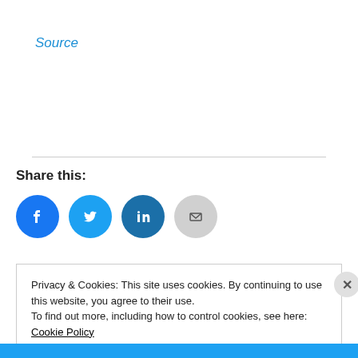Source
Share this:
[Figure (infographic): Row of four social sharing icon buttons: Facebook (blue circle with F), Twitter (blue circle with bird), LinkedIn (dark blue circle with in), Email (light gray circle with envelope)]
Privacy & Cookies: This site uses cookies. By continuing to use this website, you agree to their use.
To find out more, including how to control cookies, see here: Cookie Policy
Close and accept